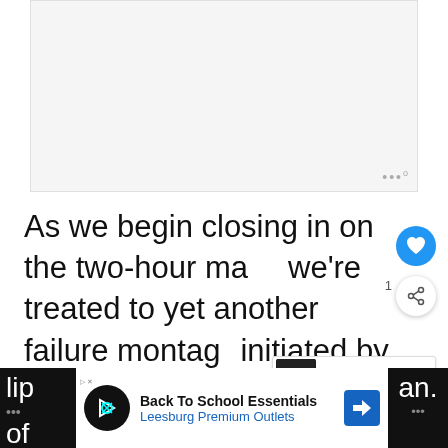[Figure (other): Gray placeholder ad/image area at top of page]
As we begin closing in on the two-hour mark, we're treated to yet another failure montage initiated by Jacob, a professional party stunt man who crams a scorpion into his mouth, tries to blow bubbles and gets stung on the lip...
[Figure (other): WHAT'S NEXT overlay with PIG ZING FRI logo and text: The Cast and Characters ...]
[Figure (other): Bottom advertisement bar: Back To School Essentials - Leesburg Premium Outlets]